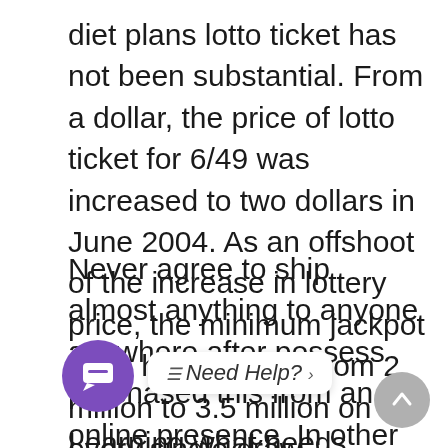diet plans lotto ticket has not been substantial. From a dollar, the price of lotto ticket for 6/49 was increased to two dollars in June 2004. As an offshoot of the increase in lottery price, the minimum jackpot prize has gone up from 2 million to 3.5 million on every single draw.
Never agree to ship almost anything to anyone anywhere after possess purchased this from an online presence. In other words, do not allow you to ultimately become a trans-shipper with regard to you don’t really become familiar with. If a website does not ship to the particular country, it is often for a very good reason. Don’t [overlapping chat UI] e. [Need Help?] e.
Learning what needs being remembered